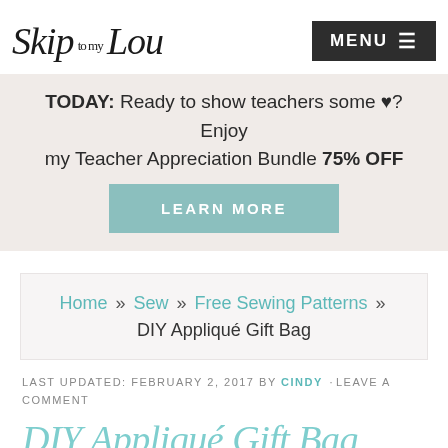Skip to my Lou  MENU
TODAY: Ready to show teachers some ♥? Enjoy my Teacher Appreciation Bundle 75% OFF
LEARN MORE
Home » Sew » Free Sewing Patterns » DIY Appliqué Gift Bag
LAST UPDATED: FEBRUARY 2, 2017 BY CINDY ·LEAVE A COMMENT
DIY Appliqué Gift Bag